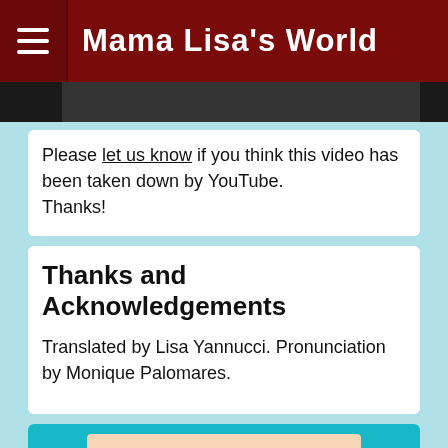Mama Lisa's World
Please let us know if you think this video has been taken down by YouTube.
Thanks!
Thanks and Acknowledgements
Translated by Lisa Yannucci. Pronunciation by Monique Palomares.
[Figure (illustration): Book cover for Christmas Carols Around The World with teal border and peach background]
Christmas Carols Around The